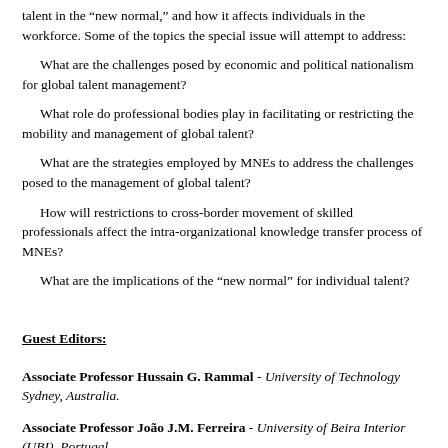talent in the “new normal,” and how it affects individuals in the workforce. Some of the topics the special issue will attempt to address:
What are the challenges posed by economic and political nationalism for global talent management?
What role do professional bodies play in facilitating or restricting the mobility and management of global talent?
What are the strategies employed by MNEs to address the challenges posed to the management of global talent?
How will restrictions to cross-border movement of skilled professionals affect the intra-organizational knowledge transfer process of MNEs?
What are the implications of the “new normal” for individual talent?
Guest Editors:
Associate Professor Hussain G. Rammal - University of Technology Sydney, Australia.
Associate Professor João J.M. Ferreira - University of Beira Interior (UBI), Portugal.